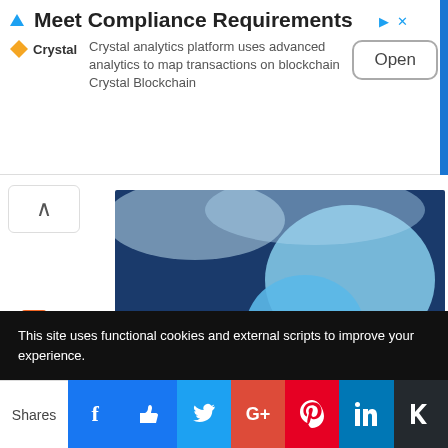[Figure (screenshot): Advertisement banner for Crystal analytics platform with 'Meet Compliance Requirements' headline, Crystal logo, description text, and Open button]
[Figure (photo): Book promotional image for Nicky Kriel, Author of How to Twitter for Business Success, dark blue background with speech bubble graphic]
RSS Feed
This site uses functional cookies and external scripts to improve your experience.
Shares